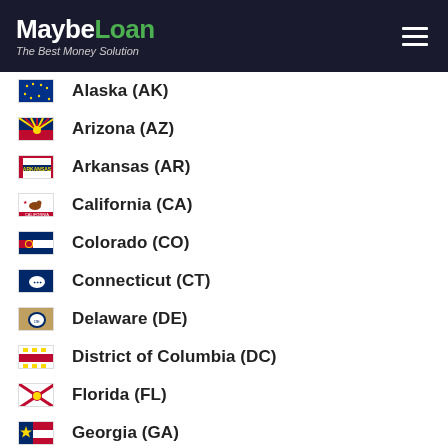MaybeLoan - The Best Money Solution
Alaska (AK)
Arizona (AZ)
Arkansas (AR)
California (CA)
Colorado (CO)
Connecticut (CT)
Delaware (DE)
District of Columbia (DC)
Florida (FL)
Georgia (GA)
Hawaii (HI)
Idaho (ID)
Illinois (IL)